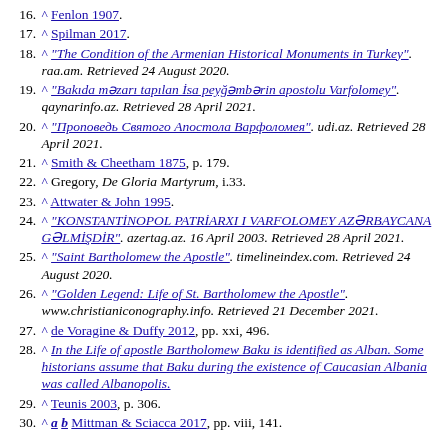16. ^ Fenlon 1907.
17. ^ Spilman 2017.
18. ^ "The Condition of the Armenian Historical Monuments in Turkey". raa.am. Retrieved 24 August 2020.
19. ^ "Bakıda məzarı tapılan İsa peyğəmbərin apostolu Varfolomey". qaynarinfo.az. Retrieved 28 April 2021.
20. ^ "Проповедь Святого Апостола Варфоломея". udi.az. Retrieved 28 April 2021.
21. ^ Smith & Cheetham 1875, p. 179.
22. ^ Gregory, De Gloria Martyrum, i.33.
23. ^ Attwater & John 1995.
24. ^ "KONSTANTİNOPOL PATRİARXI I VARFOLOMEY AZƏRBAYCANA GƏLMİŞDİR". azertag.az. 16 April 2003. Retrieved 28 April 2021.
25. ^ "Saint Bartholomew the Apostle". timelineindex.com. Retrieved 24 August 2020.
26. ^ "Golden Legend: Life of St. Bartholomew the Apostle". www.christianiconography.info. Retrieved 21 December 2021.
27. ^ de Voragine & Duffy 2012, pp. xxi, 496.
28. ^ In the Life of apostle Bartholomew Baku is identified as Alban. Some historians assume that Baku during the existence of Caucasian Albania was called Albanopolis.
29. ^ Teunis 2003, p. 306.
30. ^ a b Mittman & Sciacca 2017, pp. viii, 141.